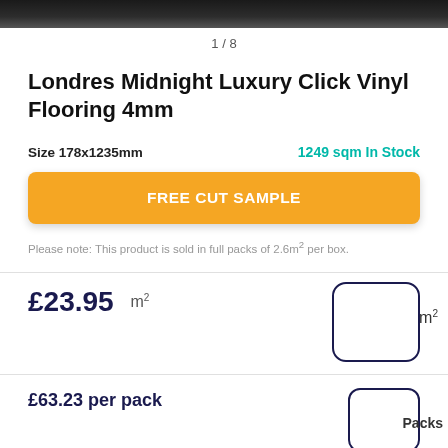[Figure (photo): Dark wood flooring texture strip at top of page]
1 / 8
Londres Midnight Luxury Click Vinyl Flooring 4mm
Size 178x1235mm
1249 sqm In Stock
FREE CUT SAMPLE
Please note: This product is sold in full packs of 2.6m² per box.
£23.95  m²
£63.23 per pack
Packs